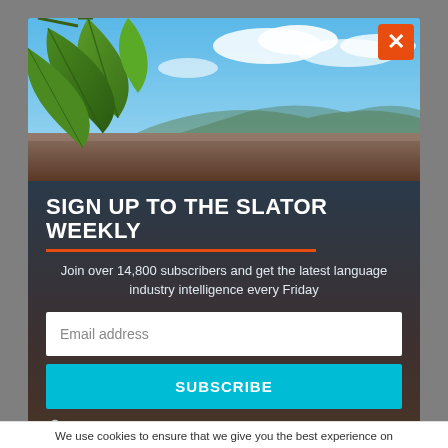[Figure (photo): Modal popup over a travel/nature website. The modal contains a tropical beach photo with lush green leaves in the top-left and blue sky with clouds. An orange X close button is in the top-right corner.]
SIGN UP TO THE SLATOR WEEKLY
Join over 14,800 subscribers and get the latest language industry intelligence every Friday
Email address
SUBSCRIBE
Your information will never be shared with third parties. No Spam.
We use cookies to ensure that we give you the best experience on